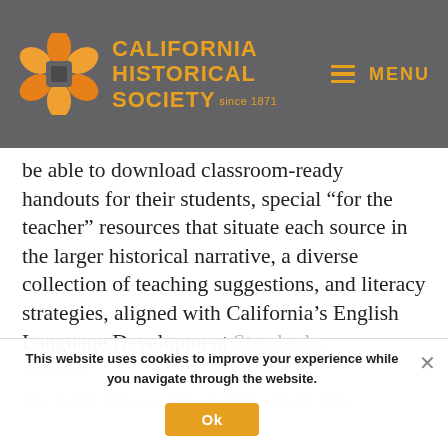CALIFORNIA HISTORICAL SOCIETY since 1871 | MENU
be able to download classroom-ready handouts for their students, special “for the teacher” resources that situate each source in the larger historical narrative, a diverse collection of teaching suggestions, and literacy strategies, aligned with California’s English Language Development Standards.
Anthea:
My hope for teachers, having been one,
This website uses cookies to improve your experience while you navigate through the website.
Ok